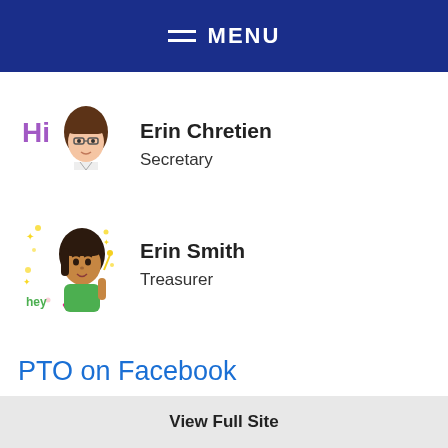MENU
Erin Chretien
Secretary
Erin Smith
Treasurer
PTO on Facebook
View Full Site